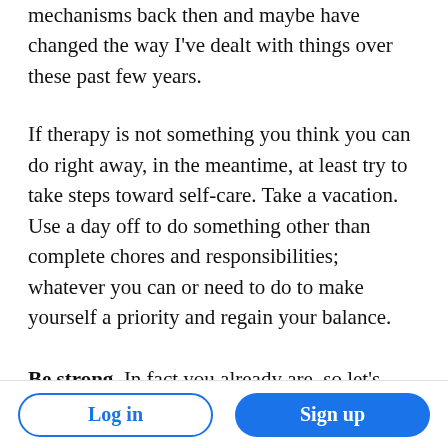mechanisms back then and maybe have changed the way I've dealt with things over these past few years.
If therapy is not something you think you can do right away, in the meantime, at least try to take steps toward self-care. Take a vacation. Use a day off to do something other than complete chores and responsibilities; whatever you can or need to do to make yourself a priority and regain your balance.
Be strong. In fact you already are, so let's keep it that way.
Log in | Sign up